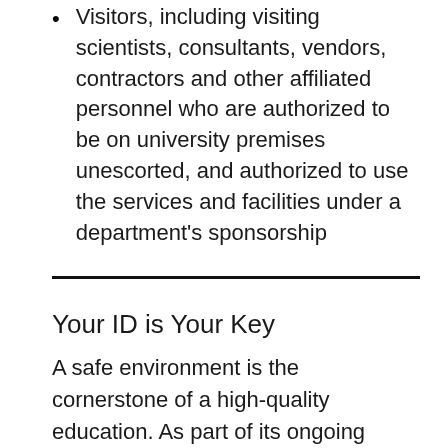Visitors, including visiting scientists, consultants, vendors, contractors and other affiliated personnel who are authorized to be on university premises unescorted, and authorized to use the services and facilities under a department's sponsorship
Your ID is Your Key
A safe environment is the cornerstone of a high-quality education. As part of its ongoing campus safety and security, the university also has implemented a building and facility access policy. Your UT ID serves as your key to